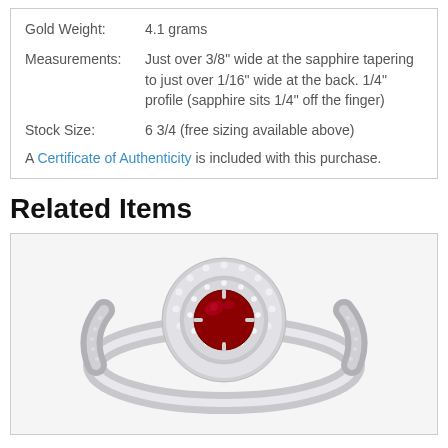| Gold Weight: | 4.1 grams |
| Measurements: | Just over 3/8" wide at the sapphire tapering to just over 1/16" wide at the back. 1/4" profile (sapphire sits 1/4" off the finger) |
| Stock Size: | 6 3/4 (free sizing available above) |
A Certificate of Authenticity is included with this purchase.
Related Items
[Figure (photo): A white gold ring with a round red ruby center stone surrounded by a halo of small diamonds, with diamond-encrusted band shoulders.]